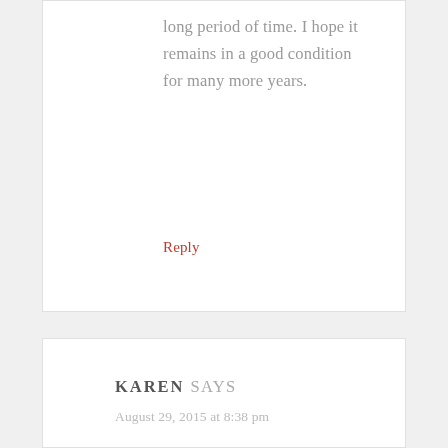long period of time. I hope it remains in a good condition for many more years.
Reply
KAREN SAYS
August 29, 2015 at 8:38 pm